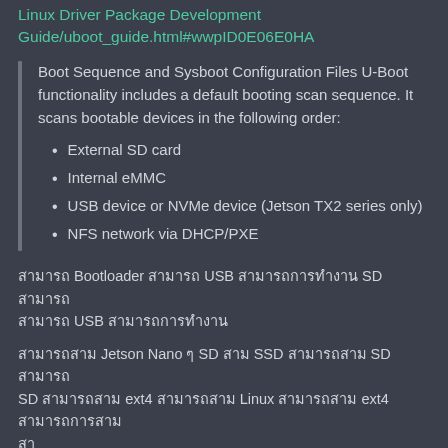Linux Driver Package Development Guide/uboot_guide.html#wwpID0E06E0HA
Boot Sequence and Sysboot Configuration Files U-Boot functionality includes a default booting scan sequence. It scans bootable devices in the following order:
External SD card
Internal eMMC
USB device or NVMe device (Jetson TX2 series only)
NFS network via DHCP/PXE
สามารถ Bootloader สามารถ USB สามารถการทำงาน SD สามารถ สามารถ USB สามารถการทำงาน
สามารถสาม Jetson Nano ๆ SD สาม SSD สามารถสาม SD สามารถ SD สามารถสาม ext4 สามารถสาม Linux สามารถสาม ext4 สามารถการสาม สา